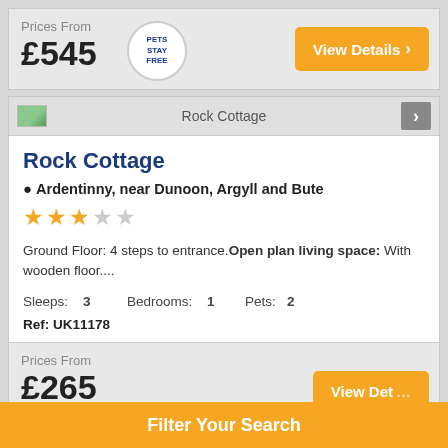Prices From
£545
[Figure (illustration): Circular badge reading 'PETS STAY FREE' in blue text on white background with grey border]
View Details ›
Rock Cottage
Rock Cottage
Ardentinny, near Dunoon, Argyll and Bute
[Figure (infographic): 3 filled orange stars and 2 empty grey stars rating]
Ground Floor: 4 steps to entrance. Open plan living space: With wooden floor....
Sleeps: 3   Bedrooms: 1   Pets: 2
Ref: UK11178
Prices From
£265
Filter Your Search